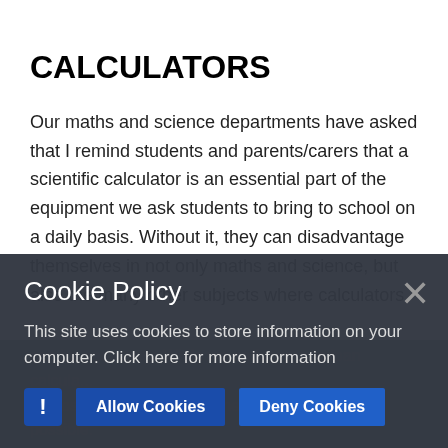CALCULATORS
Our maths and science departments have asked that I remind students and parents/carers that a scientific calculator is an essential part of the equipment we ask students to bring to school on a daily basis. Without it, they can disadvantage themselves in not only maths and science, but also the many other subjects where calculators can be necessary. While we endeavour to loan calculators to those who do not have one, it is not always possible. Moreover, owning their own calculator helps learn and understand how to use it effectively, which ultimately enables them to use it accurately and independently, and to become confident and effective in their own studies.
Cookie Policy
This site uses cookies to store information on your computer. Click here for more information
Allow Cookies   Deny Cookies